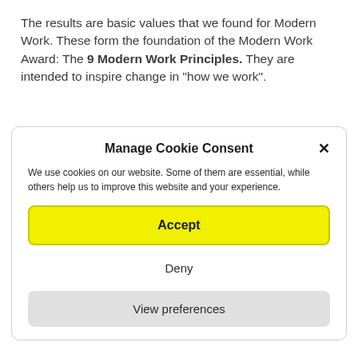The results are basic values that we found for Modern Work. These form the foundation of the Modern Work Award: The 9 Modern Work Principles. They are intended to inspire change in "how we work".
Manage Cookie Consent
We use cookies on our website. Some of them are essential, while others help us to improve this website and your experience.
Accept
Deny
View preferences